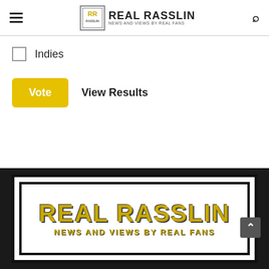REAL RASSLIN — News and Views by Real Fans
Indies
Vote   View Results
[Figure (logo): Real Rasslin logo banner with distressed gold lettering reading REAL RASSLIN and subtitle NEWS AND VIEWS BY REAL FANS on white background with thick barbed-wire style border, set against dark background]